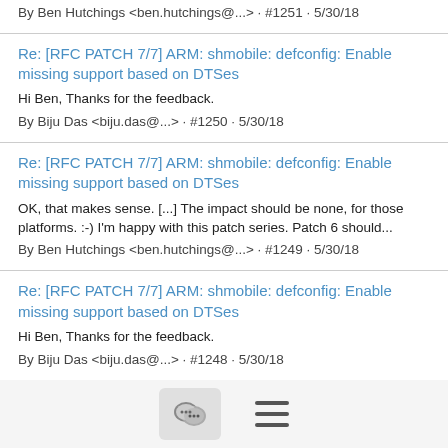By Ben Hutchings <ben.hutchings@...> · #1251 · 5/30/18
Re: [RFC PATCH 7/7] ARM: shmobile: defconfig: Enable missing support based on DTSes
Hi Ben, Thanks for the feedback.
By Biju Das <biju.das@...> · #1250 · 5/30/18
Re: [RFC PATCH 7/7] ARM: shmobile: defconfig: Enable missing support based on DTSes
OK, that makes sense. [...] The impact should be none, for those platforms. :-) I'm happy with this patch series. Patch 6 should...
By Ben Hutchings <ben.hutchings@...> · #1249 · 5/30/18
Re: [RFC PATCH 7/7] ARM: shmobile: defconfig: Enable missing support based on DTSes
Hi Ben, Thanks for the feedback.
By Biju Das <biju.das@...> · #1248 · 5/30/18
Re: [RFC PATCH 7/7] ARM: shmobile: defconfig: